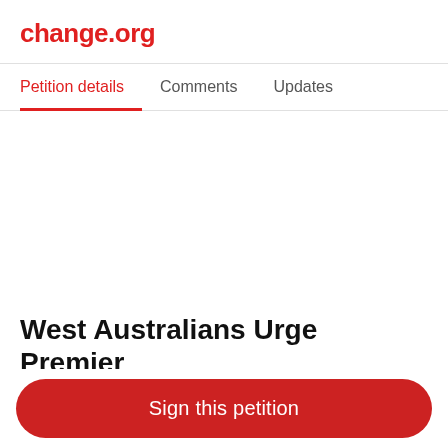change.org
Petition details	Comments	Updates
West Australians Urge Premier
Sign this petition